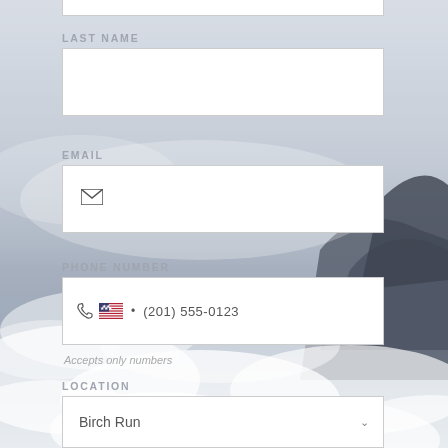LAST NAME
EMAIL
PHONE NUMBER
(201) 555-0123
Accepts only numbers
LOCATION
Birch Run